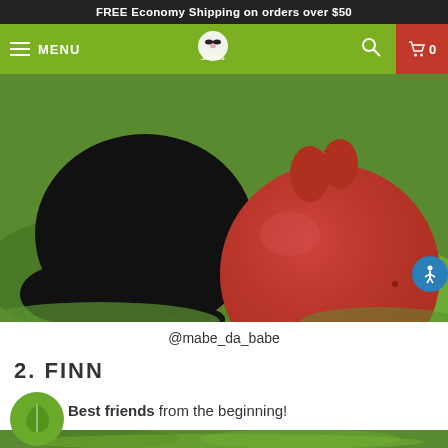FREE Economy Shipping on orders over $50
MENU | Jolly Pets logo | search | cart 0
[Figure (photo): Black dog playing with a large red Jolly Pets ball toy on green grass]
@mabe_da_babe
2. FINN
Best friends from the beginning!
[Figure (photo): Bottom strip of next photo, grassy outdoor scene]